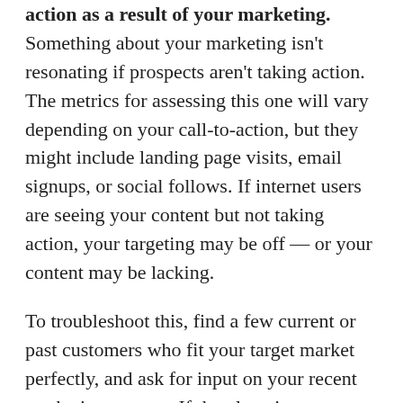action as a result of your marketing. Something about your marketing isn't resonating if prospects aren't taking action. The metrics for assessing this one will vary depending on your call-to-action, but they might include landing page visits, email signups, or social follows. If internet users are seeing your content but not taking action, your targeting may be off — or your content may be lacking.
To troubleshoot this, find a few current or past customers who fit your target market perfectly, and ask for input on your recent marketing content. If they love it, you may need to adjust your targeting within that